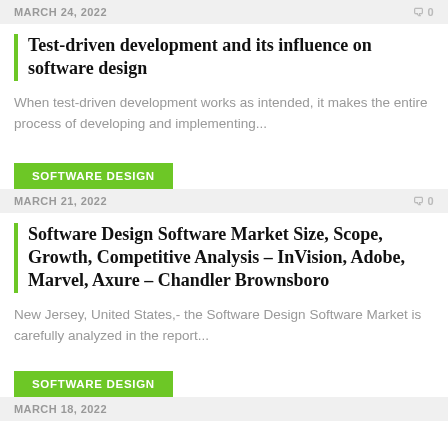MARCH 24, 2022   🗨 0
Test-driven development and its influence on software design
When test-driven development works as intended, it makes the entire process of developing and implementing...
SOFTWARE DESIGN
MARCH 21, 2022   🗨 0
Software Design Software Market Size, Scope, Growth, Competitive Analysis – InVision, Adobe, Marvel, Axure – Chandler Brownsboro
New Jersey, United States,- the Software Design Software Market is carefully analyzed in the report...
SOFTWARE DESIGN